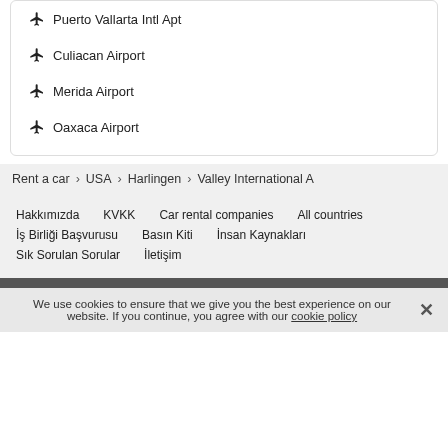Mazatlan Airport
Puerto Vallarta Intl Apt
Culiacan Airport
Merida Airport
Oaxaca Airport
Rent a car > USA > Harlingen > Valley International A
Hakkımızda   KVKK   Car rental companies   All countries   İş Birliği Başvurusu   Basın Kiti   İnsan Kaynakları   Sık Sorulan Sorular   İletişim
We use cookies to ensure that we give you the best experience on our website. If you continue, you agree with our cookie policy